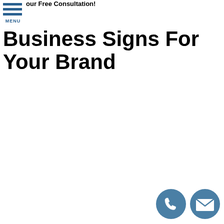our Free Consultation!
[Figure (other): Hamburger menu icon with three horizontal blue bars and MENU label]
Business Signs For Your Brand
[Figure (other): Two circular contact icons: a phone icon and an envelope/email icon, in steel blue color]